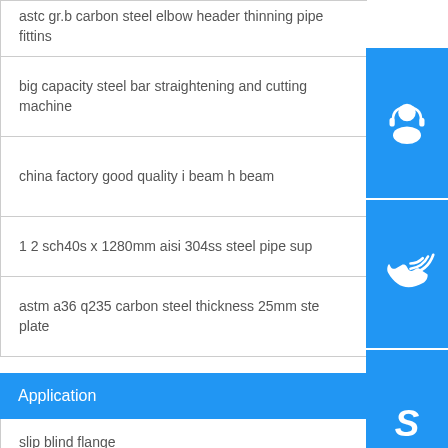| astc gr.b carbon steel elbow header thinning pipe fittins |
| big capacity steel bar straightening and cutting machine |
| china factory good quality i beam h beam |
| 1 2 sch40s x 1280mm aisi 304ss steel pipe sup |
| astm a36 q235 carbon steel thickness 25mm ste plate |
Application
| slip blind flange |
| 2 inch tube 301 stainless steel welded |